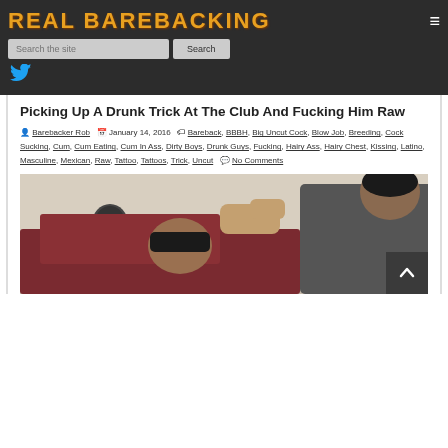REAL BAREBACKING
Search the site | Search
[Figure (logo): Twitter bird icon]
Picking Up A Drunk Trick At The Club And Fucking Him Raw
Barebacker Rob | January 14, 2016 | Bareback, BBBH, Big Uncut Cock, Blow Job, Breeding, Cock Sucking, Cum, Cum Eating, Cum In Ass, Dirty Boys, Drunk Guys, Fucking, Hairy Ass, Hairy Chest, Kissing, Latino, Masculine, Mexican, Raw, Tattoo, Tattoos, Trick, Uncut | No Comments
[Figure (photo): Two men in an intimate encounter, one in a dark red shirt]